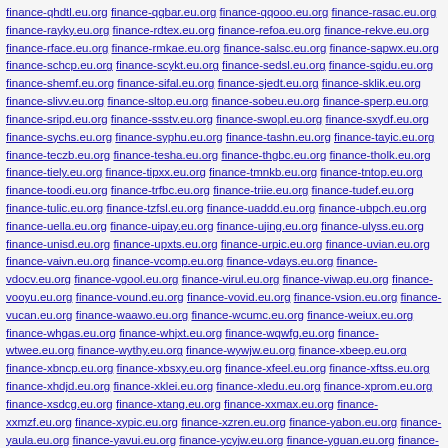finance-qhdtl.eu.org finance-qqbar.eu.org finance-qqooo.eu.org finance-rasac.eu.org finance-rayky.eu.org finance-rdtex.eu.org finance-refoa.eu.org finance-rekve.eu.org finance-rface.eu.org finance-rmkae.eu.org finance-salsc.eu.org finance-sapwx.eu.org finance-schcp.eu.org finance-scykt.eu.org finance-sedsl.eu.org finance-sgidu.eu.org finance-shemf.eu.org finance-sifal.eu.org finance-sjedt.eu.org finance-sklik.eu.org finance-slivv.eu.org finance-sltop.eu.org finance-sobeu.eu.org finance-sperp.eu.org finance-sripd.eu.org finance-ssstv.eu.org finance-swopl.eu.org finance-sxydf.eu.org finance-sychs.eu.org finance-syphu.eu.org finance-tashn.eu.org finance-tayic.eu.org finance-teczb.eu.org finance-tesha.eu.org finance-thgbc.eu.org finance-tholk.eu.org finance-tiely.eu.org finance-tipxx.eu.org finance-tmnkb.eu.org finance-tntop.eu.org finance-toodi.eu.org finance-trfbc.eu.org finance-triie.eu.org finance-tudef.eu.org finance-tulic.eu.org finance-tzfsl.eu.org finance-uaddd.eu.org finance-ubpch.eu.org finance-uella.eu.org finance-uipay.eu.org finance-ujing.eu.org finance-ulyss.eu.org finance-unisd.eu.org finance-upxts.eu.org finance-urpic.eu.org finance-uvian.eu.org finance-vaivn.eu.org finance-vcomp.eu.org finance-vdays.eu.org finance-vdocv.eu.org finance-vgool.eu.org finance-virul.eu.org finance-viwap.eu.org finance-vooyu.eu.org finance-vound.eu.org finance-vovid.eu.org finance-vsion.eu.org finance-vucan.eu.org finance-waawo.eu.org finance-wcumc.eu.org finance-weiux.eu.org finance-whgas.eu.org finance-whjxt.eu.org finance-wqwfg.eu.org finance-wtwee.eu.org finance-wythy.eu.org finance-wywjw.eu.org finance-xbeep.eu.org finance-xbncp.eu.org finance-xbsxy.eu.org finance-xfeel.eu.org finance-xftss.eu.org finance-xhdjd.eu.org finance-xklei.eu.org finance-xledu.eu.org finance-xprom.eu.org finance-xsdcg.eu.org finance-xtang.eu.org finance-xxmax.eu.org finance-xxmzf.eu.org finance-xypic.eu.org finance-xzren.eu.org finance-yabon.eu.org finance-yaula.eu.org finance-yavui.eu.org finance-ycyjw.eu.org finance-yguan.eu.org finance-ymfbw.eu.org finance-yneco.eu.org finance-yotea.eu.org finance-yrfin.eu.org finance-